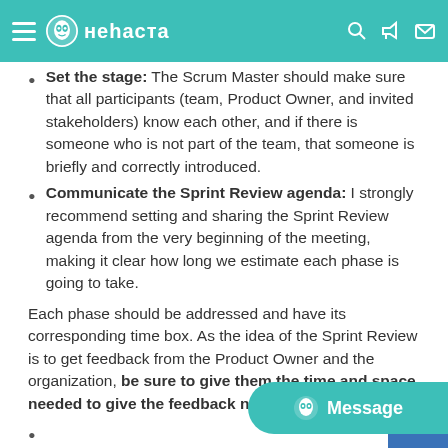неhaста (navigation bar with logo)
Set the stage: The Scrum Master should make sure that all participants (team, Product Owner, and invited stakeholders) know each other, and if there is someone who is not part of the team, that someone is briefly and correctly introduced.
Communicate the Sprint Review agenda: I strongly recommend setting and sharing the Sprint Review agenda from the very beginning of the meeting, making it clear how long we estimate each phase is going to take.
Each phase should be addressed and have its corresponding time box. As the idea of the Sprint Review is to get feedback from the Product Owner and the organization, be sure to give them the time and space needed to give the feedback needed.
(next bullet item — cut off at bottom)